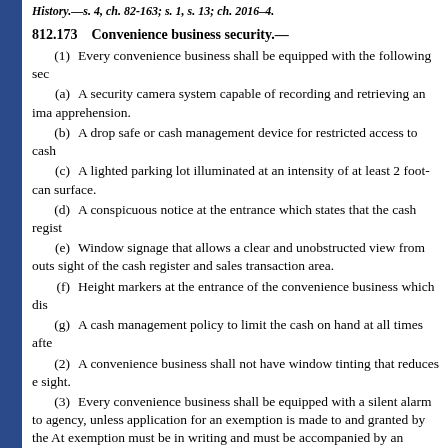History.—s. 4, ch. 82-163; s. 1, s. 13; ch. 2016–4.
812.173    Convenience business security.—
(1)    Every convenience business shall be equipped with the following sec
(a)    A security camera system capable of recording and retrieving an ima apprehension.
(b)    A drop safe or cash management device for restricted access to cash
(c)    A lighted parking lot illuminated at an intensity of at least 2 foot-can surface.
(d)    A conspicuous notice at the entrance which states that the cash regist
(e)    Window signage that allows a clear and unobstructed view from outs sight of the cash register and sales transaction area.
(f)    Height markers at the entrance of the convenience business which dis
(g)    A cash management policy to limit the cash on hand at all times afte
(2)    A convenience business shall not have window tinting that reduces e sight.
(3)    Every convenience business shall be equipped with a silent alarm to agency, unless application for an exemption is made to and granted by the At exemption must be in writing and must be accompanied by an administrative exemption would apply.
(4)    If a murder, robbery, sexual battery, aggravated assault, aggravated b imprisonment, as those crimes are identified and defined by Florida Statutes, business since July 1, 1989, and arises out of the operation of the convenienc